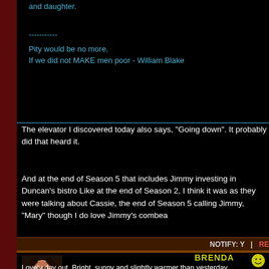and daughter.
-----------
Pity would be no more,
If we did not MAKE men poor - William Blake
The elevator I discovered today also says, "Going down". It probably did that heard it.
And at the end of Season 5 that includes Jimmy investing in Duncan's bistro Like at the end of Season 2, I think it was as they were talking about Cassie, the end of Season 5 calling Jimmy, "Mary" though I do love Jimmy's combea
NOTIFY: Y  |  RE
BRENDA
[Figure (photo): Profile photo of a woman with dark curly hair]
Lovely day out. Bright, sunny and slightly warmer than yesterday.